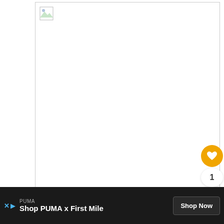[Figure (photo): Large image area with broken/unloaded image placeholder in top-left corner, white background with light gray border]
FASHION AND FILM FRIDAY
[Figure (illustration): Heart button (gold circle with white heart icon), count badge showing '1', and share button (white circle with share icon)]
[Figure (other): WHAT'S NEXT arrow label with dog thumbnail image and 'Fruity' text]
PUMA
Shop PUMA x First Mile
Shop Now